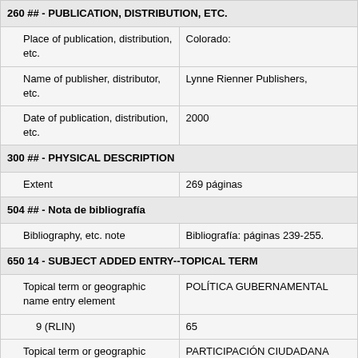| 260 ## - PUBLICATION, DISTRIBUTION, ETC. |  |
| Place of publication, distribution, etc. | Colorado: |
| Name of publisher, distributor, etc. | Lynne Rienner Publishers, |
| Date of publication, distribution, etc. | 2000 |
| 300 ## - PHYSICAL DESCRIPTION |  |
| Extent | 269 páginas |
| 504 ## - Nota de bibliografía |  |
| Bibliography, etc. note | Bibliografía: páginas 239-255. |
| 650 14 - SUBJECT ADDED ENTRY--TOPICAL TERM |  |
| Topical term or geographic name entry element | POLÍTICA GUBERNAMENTAL |
| 9 (RLIN) | 65 |
| Topical term or geographic name entry | PARTICIPACIÓN CIUDADANA |